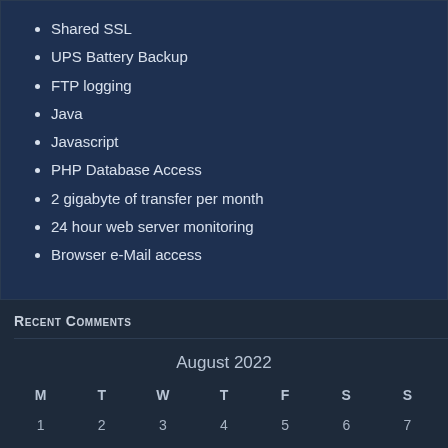Shared SSL
UPS Battery Backup
FTP logging
Java
Javascript
PHP Database Access
2 gigabyte of transfer per month
24 hour web server monitoring
Browser e-Mail access
Recent Comments
| M | T | W | T | F | S | S |
| --- | --- | --- | --- | --- | --- | --- |
| 1 | 2 | 3 | 4 | 5 | 6 | 7 |
| 8 | 9 | 10 | 11 | 12 | 13 | 14 |
| 15 | 16 | 17 | 18 | 19 | 20 | 21 |
| 22 | 23 | 24 | 25 | 26 | 27 | 28 |